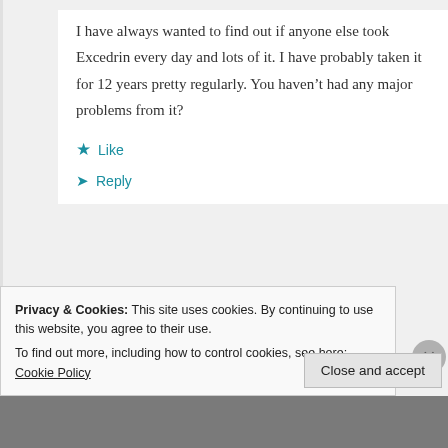I have always wanted to find out if anyone else took Excedrin every day and lots of it. I have probably taken it for 12 years pretty regularly. You haven't had any major problems from it?
★ Like
↳ Reply
Privacy & Cookies: This site uses cookies. By continuing to use this website, you agree to their use. To find out more, including how to control cookies, see here: Cookie Policy
Close and accept